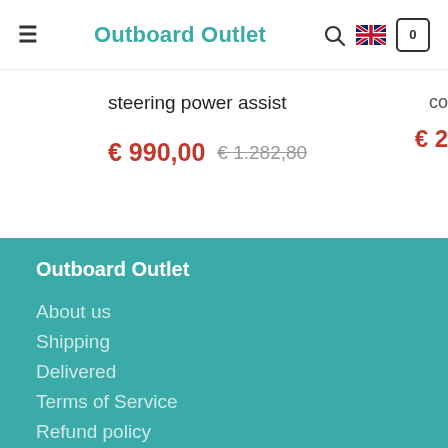Outboard Outlet
steering power assist
€ 990,00  € 1.282,80
Outboard Outlet
About us
Shipping
Delivered
Terms of Service
Refund policy
Contact